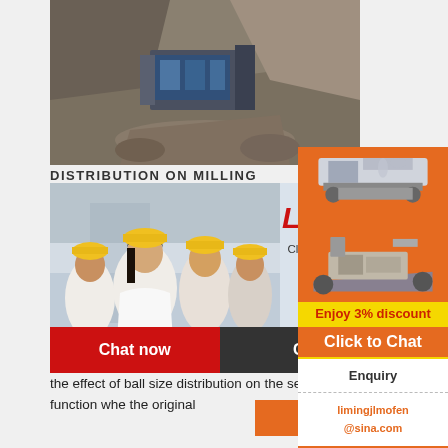[Figure (photo): Mining/quarry site showing excavation equipment and rock face]
DISTRIBUTION ON MILLING
[Figure (photo): Live chat popup overlay with construction workers in hard hats. Title: LIVE CHAT. Subtitle: Click for a Free Consultation. Buttons: Chat now, Chat later.]
Then two ball mixtures were successively considered. The equilibrium ball mixture was used to investigate the effect of ball size distribution on the selection function whe the original
[Figure (infographic): Right sidebar advertisement: orange background with images of mining/crushing machines, Enjoy 3% discount, Click to Chat, Enquiry, limingjlmofen@sina.com]
More